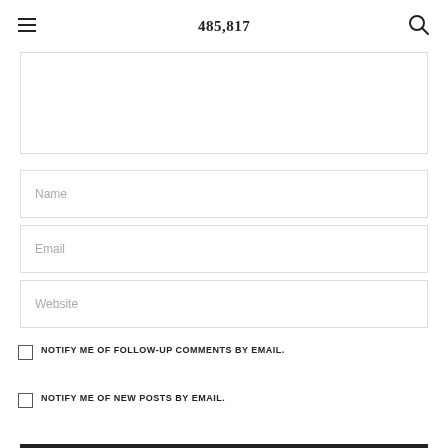485,817
[Figure (screenshot): Comment form with textarea (partially visible at top), Name field, Email field, Website field, two checkboxes for email notifications]
Name
Email
Website
NOTIFY ME OF FOLLOW-UP COMMENTS BY EMAIL.
NOTIFY ME OF NEW POSTS BY EMAIL.